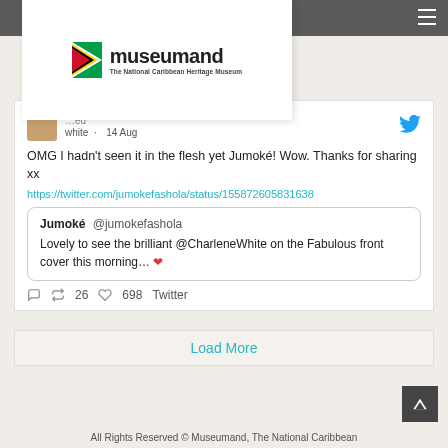[Figure (logo): Museumand - The National Caribbean Heritage Museum logo with Guyanese flag icon]
OMG I hadn't seen it in the flesh yet Jumoké! Wow. Thanks for sharing xx
https://twitter.com/jumokefashola/status/155872605831638
Jumoké @jumokefashola
Lovely to see the brilliant @CharleneWhite on the Fabulous front cover this morning... ❤
26  698  Twitter
Load More
All Rights Reserved © Museumand, The National Caribbean